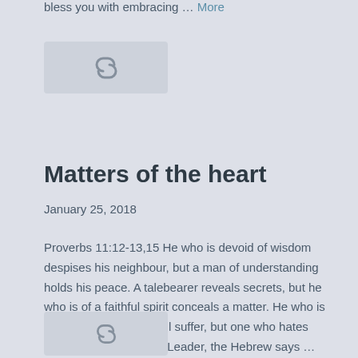bless you with embracing … More
[Figure (other): Link chain icon in a light grey rounded rectangle box]
Matters of the heart
January 25, 2018
Proverbs 11:12-13,15 He who is devoid of wisdom despises his neighbour, but a man of understanding holds his peace. A talebearer reveals secrets, but he who is of a faithful spirit conceals a matter. He who is surety for a stranger will suffer, but one who hates being surety is secure. Leader, the Hebrew says … More
[Figure (other): Link chain icon in a light grey rounded rectangle box]